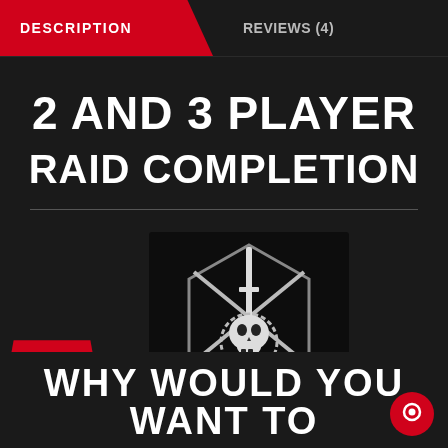DESCRIPTION | REVIEWS (4)
2 AND 3 PLAYER RAID COMPLETION
[Figure (logo): Gaming raid logo: skull with sword and hexagon design in black and white on dark background]
WHY WOULD YOU WANT TO